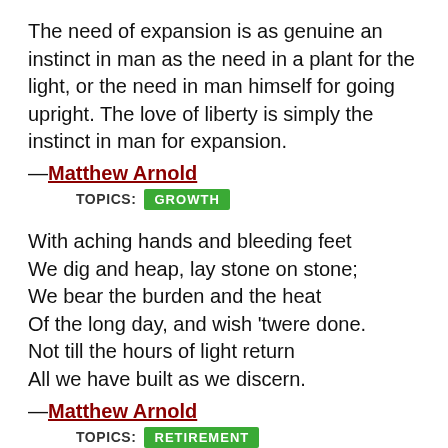The need of expansion is as genuine an instinct in man as the need in a plant for the light, or the need in man himself for going upright. The love of liberty is simply the instinct in man for expansion.
—Matthew Arnold
TOPICS: GROWTH
With aching hands and bleeding feet
We dig and heap, lay stone on stone;
We bear the burden and the heat
Of the long day, and wish 'twere done.
Not till the hours of light return
All we have built as we discern.
—Matthew Arnold
TOPICS: RETIREMENT